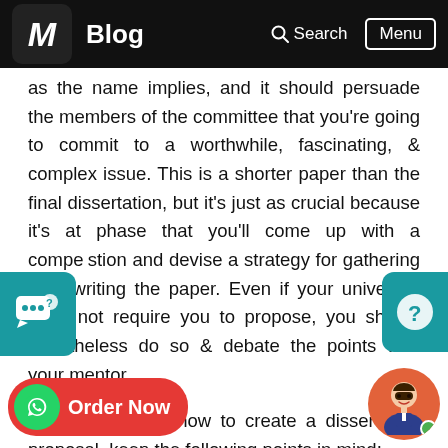Blog | Search | Menu
as the name implies, and it should persuade the members of the committee that you're going to commit to a worthwhile, fascinating, & complex issue. This is a shorter paper than the final dissertation, but it's just as crucial because it's at phase that you'll come up with a compelling question and devise a strategy for gathering data writing the paper. Even if your university does not require you to propose, you should nonetheless do so & debate the points with your mentor.
When pondering how to create a dissertation proposal, keep the following points in mind:
Select a concept, a query, and a headline.
What problem will your dissertation address